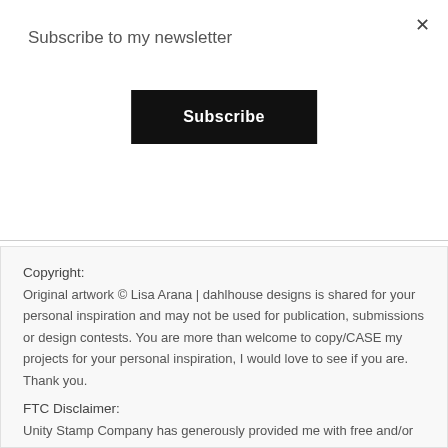×
Subscribe to my newsletter
[Figure (other): Black Subscribe button]
Copyright:
Original artwork © Lisa Arana | dahlhouse designs is shared for your personal inspiration and may not be used for publication, submissions or design contests. You are more than welcome to copy/CASE my projects for your personal inspiration, I would love to see if you are. Thank you.
FTC Disclaimer:
Unity Stamp Company has generously provided me with free and/or discounted product for use in my creations. Affiliate Links are used when available at no